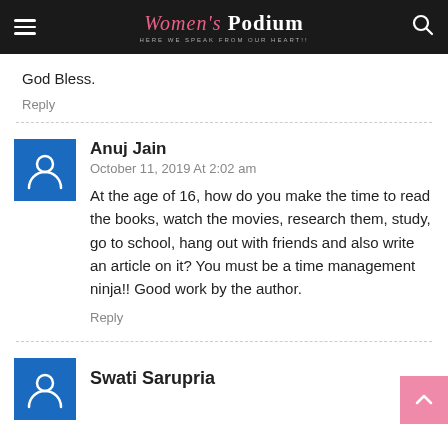Women's Podium — HERE WE SPEAK FROM OUR HEART!!
God Bless.
Reply
Anuj Jain
October 11, 2019 At 2:02 am
At the age of 16, how do you make the time to read the books, watch the movies, research them, study, go to school, hang out with friends and also write an article on it? You must be a time management ninja!! Good work by the author.
Reply
Swati Sarupria